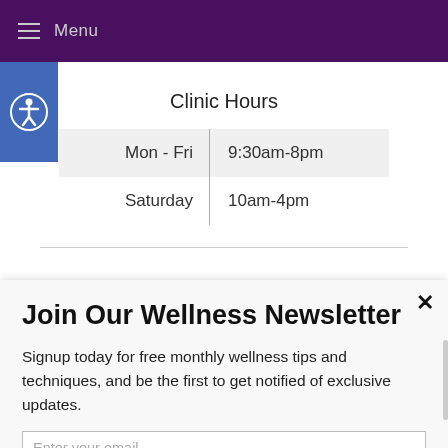Menu
Clinic Hours
| Day | Hours |
| --- | --- |
| Mon - Fri | 9:30am-8pm |
| Saturday | 10am-4pm |
Join Our Wellness Newsletter
Signup today for free monthly wellness tips and techniques, and be the first to get notified of exclusive updates.